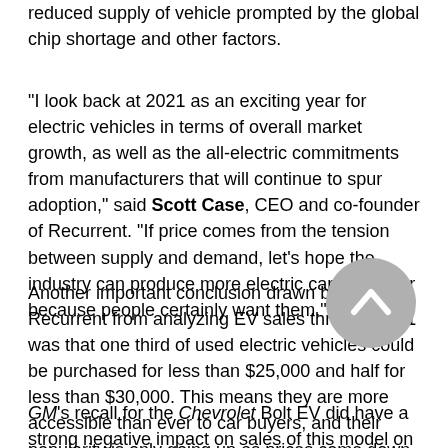reduced supply of vehicle prompted by the global chip shortage and other factors.
"I look back at 2021 as an exciting year for electric vehicles in terms of overall market growth, as well as the all-electric commitments from manufacturers that will continue to spur adoption," said Scott Case, CEO and co-founder of Recurrent. "If price comes from the tension between supply and demand, let's hope the industry can produce more electric cars this year because people certainly want them."
Another important conclusion drawn by Recurrent from analyzing EV sales through 2021 was that one third of used electric vehicles could be purchased for less than $25,000 and half for less than $30,000. This means they are more accessible than ever to car buyers, and their popularity is only going up as prices come down even more.
GM's recall for the Chevrolet Bolt EV did have a strong negative impact on sales of this model on the used market. Sales were